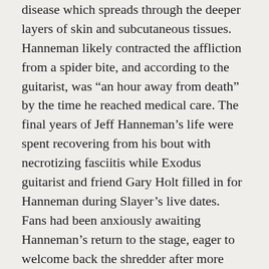disease which spreads through the deeper layers of skin and subcutaneous tissues. Hanneman likely contracted the affliction from a spider bite, and according to the guitarist, was “an hour away from death” by the time he reached medical care. The final years of Jeff Hanneman’s life were spent recovering from his bout with necrotizing fasciitis while Exodus guitarist and friend Gary Holt filled in for Hanneman during Slayer’s live dates. Fans had been anxiously awaiting Hanneman’s return to the stage, eager to welcome back the shredder after more than two years spent on the sidelines.
Tragically, Slayer fanatics and future converts will never be able to witness such a return, as the legendary guitarist passed away from liver failure on May 2, 2013. The most afflictive aspect of Hanneman’s passing, which continuously and painfully twists the